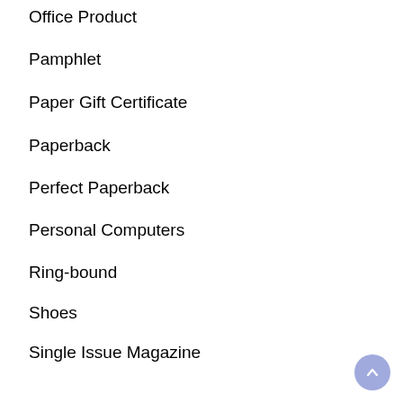Office Product
Pamphlet
Paper Gift Certificate
Paperback
Perfect Paperback
Personal Computers
Ring-bound
Shoes
Single Issue Magazine
Software
Sports